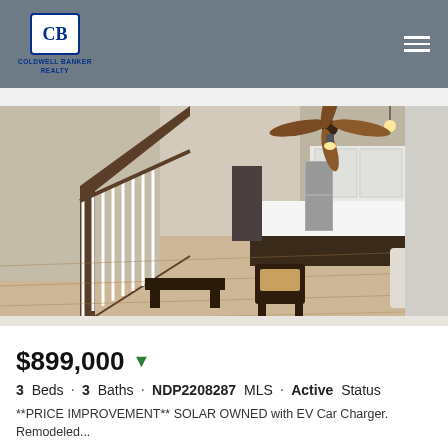Coldwell Banker Realty
[Figure (photo): Interior photo of an open-plan living room and kitchen with ceiling fan, staircase with white balusters, hardwood floors, modern kitchen with stainless fridge, dark countertops, and white cabinetry. Ornate chairs and a bench are visible in the foreground.]
$899,000 ▼
3 Beds · 3 Baths · NDP2208287 MLS · Active Status
**PRICE IMPROVEMENT** SOLAR OWNED with EV Car Charger. Remodeled...
141 Bellerive Court, Vista